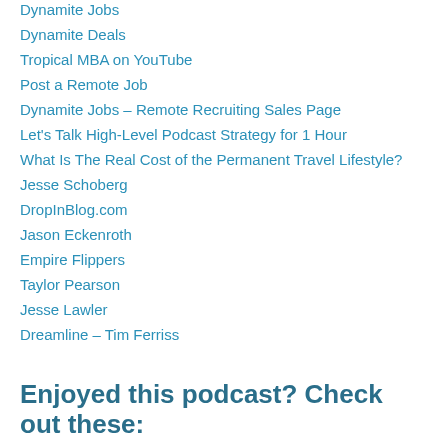Dynamite Jobs
Dynamite Deals
Tropical MBA on YouTube
Post a Remote Job
Dynamite Jobs – Remote Recruiting Sales Page
Let's Talk High-Level Podcast Strategy for 1 Hour
What Is The Real Cost of the Permanent Travel Lifestyle?
Jesse Schoberg
DropInBlog.com
Jason Eckenroth
Empire Flippers
Taylor Pearson
Jesse Lawler
Dreamline – Tim Ferriss
Enjoyed this podcast? Check out these: